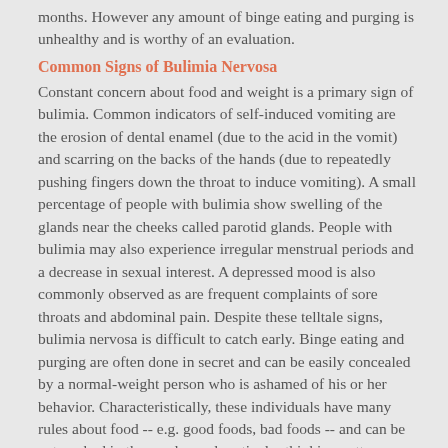months. However any amount of binge eating and purging is unhealthy and is worthy of an evaluation.
Common Signs of Bulimia Nervosa
Constant concern about food and weight is a primary sign of bulimia. Common indicators of self-induced vomiting are the erosion of dental enamel (due to the acid in the vomit) and scarring on the backs of the hands (due to repeatedly pushing fingers down the throat to induce vomiting). A small percentage of people with bulimia show swelling of the glands near the cheeks called parotid glands. People with bulimia may also experience irregular menstrual periods and a decrease in sexual interest. A depressed mood is also commonly observed as are frequent complaints of sore throats and abdominal pain. Despite these telltale signs, bulimia nervosa is difficult to catch early. Binge eating and purging are often done in secret and can be easily concealed by a normal-weight person who is ashamed of his or her behavior. Characteristically, these individuals have many rules about food -- e.g. good foods, bad foods -- and can be entrenched in these rules and particular thinking patterns. This preoccupation and these behaviors allow the person to